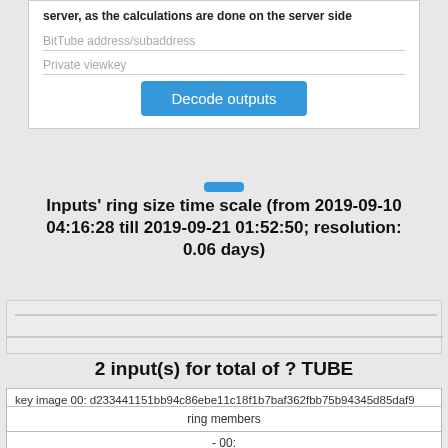server, as the calculations are done on the server side
BitTube address/subaddress
Private viewkey
Decode outputs
Inputs' ring size time scale (from 2019-09-10 04:16:28 till 2019-09-21 01:52:50; resolution: 0.06 days)
[Figure (other): Two horizontal lines representing chart axes or scale indicators]
2 input(s) for total of ? TUBE
key image 00: d233441151bb94c86ebe11c18f1b7baf362fbb75b94345d85daf9...
| ring members |
| --- |
| - 00: |
| c7c5a743cc71d3bf4e90688e08a199f1d3dc28910bf52e21cec3b3d58ede4373... |
| - 01: |
- 01: